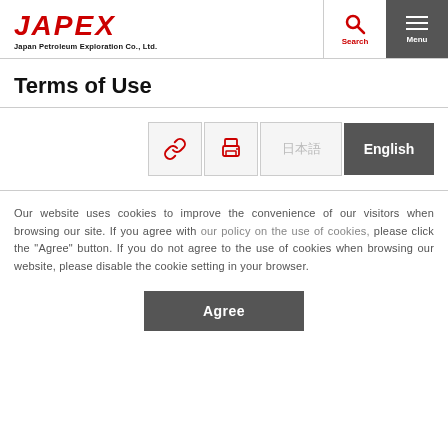JAPEX — Japan Petroleum Exploration Co., Ltd. | Search | Menu
Terms of Use
[Figure (screenshot): Row of four buttons: link icon, print icon, Japanese text (日本語), English (active/dark background)]
Our website uses cookies to improve the convenience of our visitors when browsing our site. If you agree with our policy on the use of cookies, please click the "Agree" button. If you do not agree to the use of cookies when browsing our website, please disable the cookie setting in your browser.
Agree